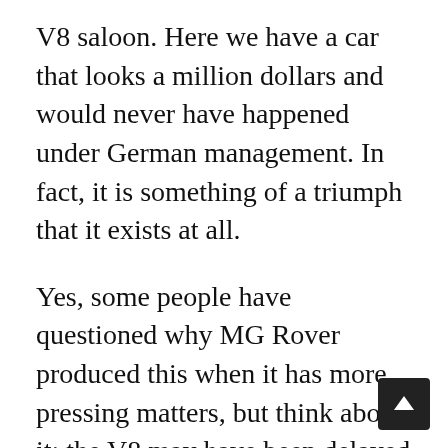V8 saloon. Here we have a car that looks a million dollars and would never have happened under German management. In fact, it is something of a triumph that it exists at all.
Yes, some people have questioned why MG Rover produced this when it has more pressing matters, but think about it: the V8 may have been delayed and cost more than it should have, but you can guarantee that its total development budget would not add up to the cost of producing new damped cupholders for the RD/X60. So know which I'd rather have; carry over